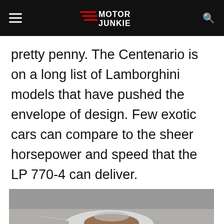Motor Junkie
pretty penny. The Centenario is on a long list of Lamborghini models that have pushed the envelope of design. Few exotic cars can compare to the sheer horsepower and speed that the LP 770-4 can deliver.
[Figure (photo): Aerial/top-down view of a white open-top Lamborghini Centenario LP 770-4 on a track.]
Advertisement
Dulles OPEN | 10AM–8PM 45575 Dulles Eastern Plaza, Suite 171, D